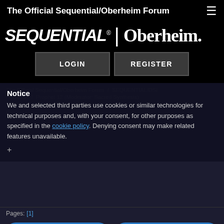The Official Sequential/Oberheim Forum
[Figure (logo): Sequential | Oberheim logo in white on black background]
LOGIN    REGISTER
The Official Sequential/Oberheim Forum / SEQUENTIAL/DSI / Prophet / Prophet 12 (Moderator: Sacred Synthesis)
Notice
We and selected third parties use cookies or similar technologies for technical purposes and, with your consent, for other purposes as specified in the cookie policy. Denying consent may make related features unavailable.
Pages: [1]
Reject    Accept
Learn more and customize
It's Official - Prophet 12